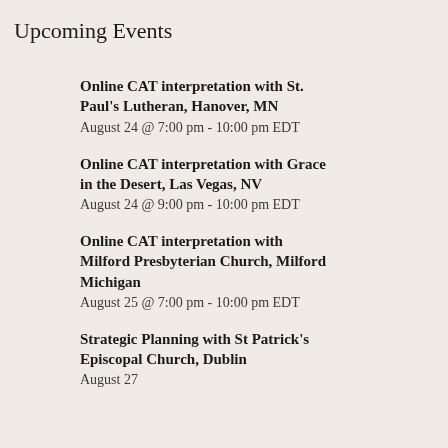Upcoming Events
Online CAT interpretation with St. Paul's Lutheran, Hanover, MN
August 24 @ 7:00 pm - 10:00 pm EDT
Online CAT interpretation with Grace in the Desert, Las Vegas, NV
August 24 @ 9:00 pm - 10:00 pm EDT
Online CAT interpretation with Milford Presbyterian Church, Milford Michigan
August 25 @ 7:00 pm - 10:00 pm EDT
Strategic Planning with St Patrick's Episcopal Church, Dublin
August 27